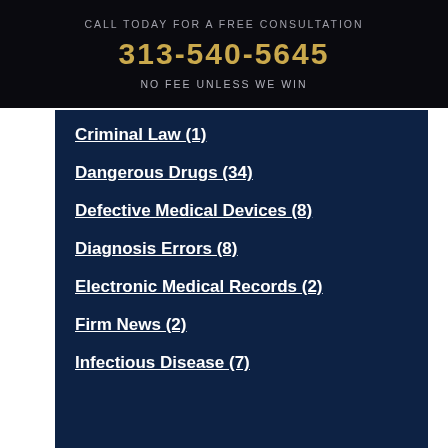CALL TODAY FOR A FREE CONSULTATION
313-540-5645
NO FEE UNLESS WE WIN
Criminal Law (1)
Dangerous Drugs (34)
Defective Medical Devices (8)
Diagnosis Errors (8)
Electronic Medical Records (2)
Firm News (2)
Infectious Disease (7)